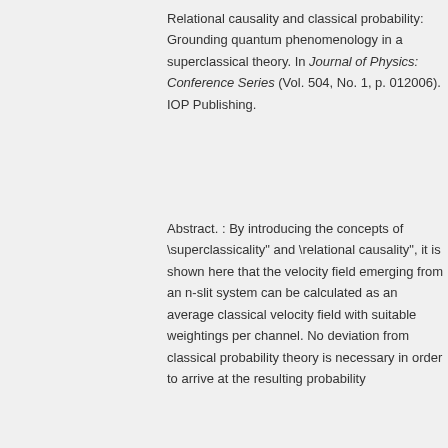Relational causality and classical probability: Grounding quantum phenomenology in a superclassical theory. In Journal of Physics: Conference Series (Vol. 504, No. 1, p. 012006). IOP Publishing.
Abstract. : By introducing the concepts of \superclassicality" and \relational causality", it is shown here that the velocity field emerging from an n-slit system can be calculated as an average classical velocity field with suitable weightings per channel. No deviation from classical probability theory is necessary in order to arrive at the resulting probability distribution.